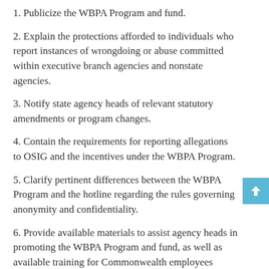1. Publicize the WBPA Program and fund.
2. Explain the protections afforded to individuals who report instances of wrongdoing or abuse committed within executive branch agencies and nonstate agencies.
3. Notify state agency heads of relevant statutory amendments or program changes.
4. Contain the requirements for reporting allegations to OSIG and the incentives under the WBPA Program.
5. Clarify pertinent differences between the WBPA Program and the hotline regarding the rules governing anonymity and confidentiality.
6. Provide available materials to assist agency heads in promoting the WBPA Program and fund, as well as available training for Commonwealth employees regarding the WBPA Program and fund.